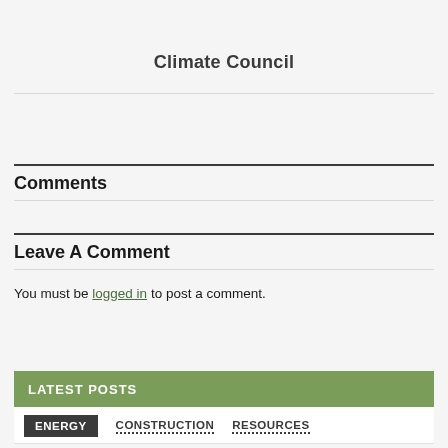Climate Council
Comments
Leave A Comment
You must be logged in to post a comment.
LATEST POSTS
ENERGY  CONSTRUCTION  RESOURCES